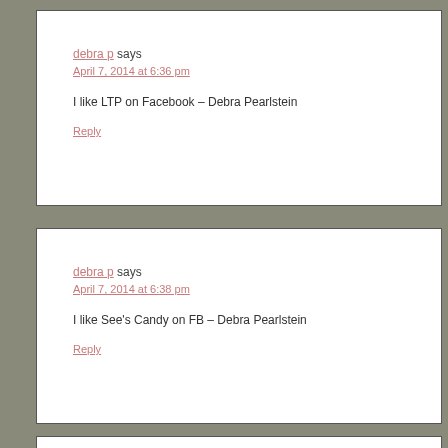debra p says
April 7, 2014 at 6:36 pm
I like LTP on Facebook – Debra Pearlstein
Reply
debra p says
April 7, 2014 at 6:38 pm
I like See's Candy on FB – Debra Pearlstein
Reply